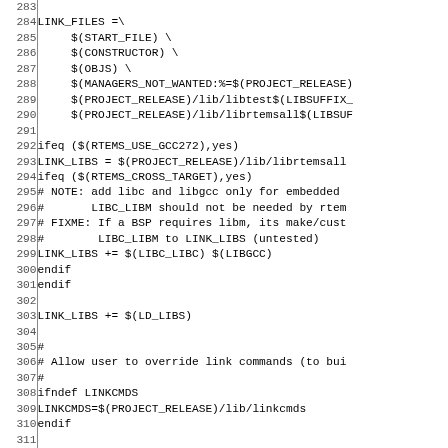Code listing lines 283–312, Makefile content including LINK_FILES, ifeq/ifdef/endif blocks, LINK_LIBS, LINKCMDS definitions